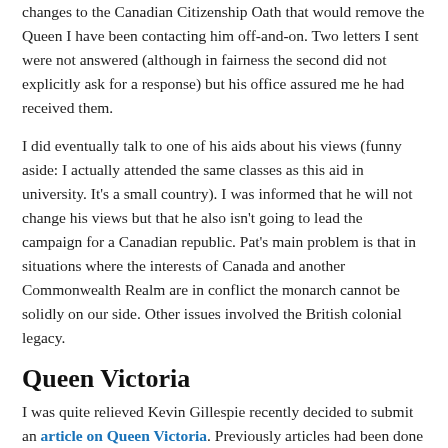changes to the Canadian Citizenship Oath that would remove the Queen I have been contacting him off-and-on. Two letters I sent were not answered (although in fairness the second did not explicitly ask for a response) but his office assured me he had received them.
I did eventually talk to one of his aids about his views (funny aside: I actually attended the same classes as this aid in university. It's a small country). I was informed that he will not change his views but that he also isn't going to lead the campaign for a Canadian republic. Pat's main problem is that in situations where the interests of Canada and another Commonwealth Realm are in conflict the monarch cannot be solidly on our side. Other issues involved the British colonial legacy.
Queen Victoria
I was quite relieved Kevin Gillespie recently decided to submit an article on Queen Victoria. Previously articles had been done on her father, husband, and one of her daughters. Her absence was starting to become conspicuous. I wanted to add a photo of Queen Victoria's jubilee but after formatting the article I couldn't decide on a good place. I also wanted to add a good photo of the Queen smiling since it goes against the image many people have of her.